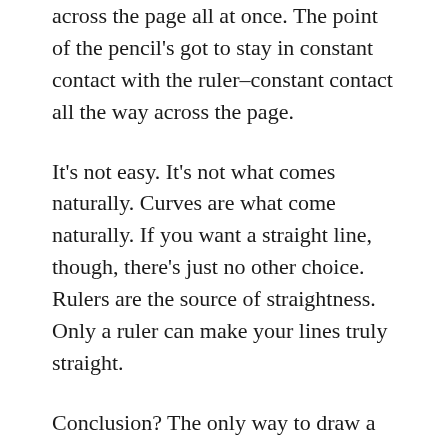across the page all at once. The point of the pencil's got to stay in constant contact with the ruler–constant contact all the way across the page.
It's not easy. It's not what comes naturally. Curves are what come naturally. If you want a straight line, though, there's just no other choice. Rulers are the source of straightness. Only a ruler can make your lines truly straight.
Conclusion? The only way to draw a straight line is to use a ruler. It will take awhile to get the hang of it. Later, even after you learn how, you may suddenly find your lines wobbling again. You may suddenly find them suffering from too much rushing forward and not enough leaning